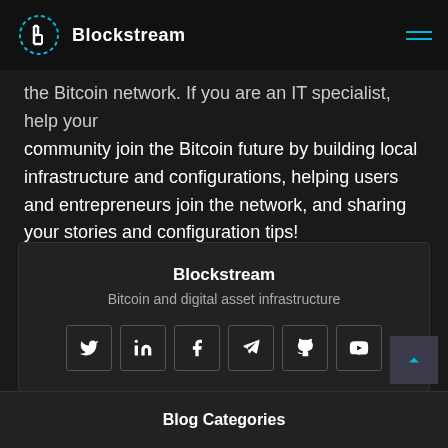Blockstream
the Bitcoin network. If you are an IT specialist, help your community join the Bitcoin future by building local infrastructure and configurations, helping users and entrepreneurs join the network, and sharing your stories and configuration tips!
Blockstream
Bitcoin and digital asset infrastructure
[Figure (infographic): Social media icons in bordered boxes: Twitter, LinkedIn, Facebook, Telegram, GitHub, YouTube]
Blog Categories